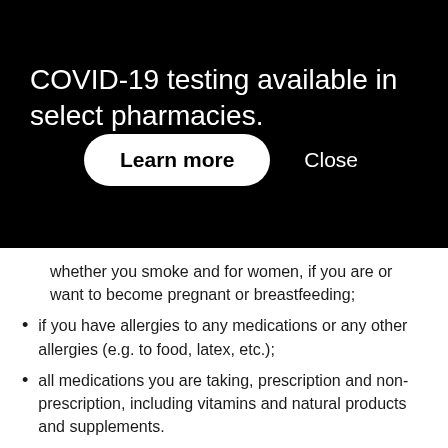COVID-19 testing available in select pharmacies.
Learn more
Close
whether you smoke and for women, if you are or want to become pregnant or breastfeeding;
if you have allergies to any medications or any other allergies (e.g. to food, latex, etc.);
all medications you are taking, prescription and non-prescription, including vitamins and natural products and supplements.
If you think you are allergic to this medication or if you develop a rash, itching, swelling of the face or difficulty breathing after using it, seek medical attention